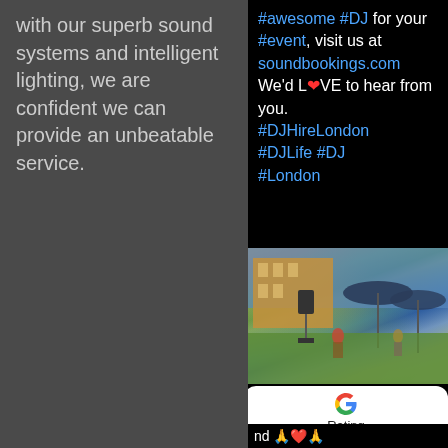with our superb sound systems and intelligent lighting, we are confident we can provide an unbeatable service.
#awesome #DJ for your #event, visit us at soundbookings.com We'd L❤VE to hear from you. #DJHireLondon #DJLife #DJ #London
[Figure (photo): Outdoor event photo showing a speaker on a stand in a garden area with umbrellas and people sitting at tables, with a historic building in the background.]
[Figure (infographic): Google Rating card showing 5.0 stars from 46 reviews]
nd 🙏❤️🙏